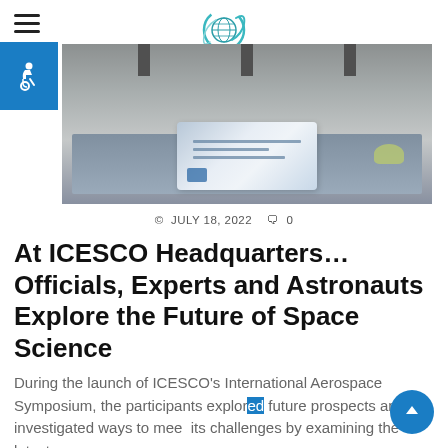[Figure (logo): ICESCO circular logo with globe and swoosh elements in teal/green]
[Figure (photo): Conference room scene with a banner/sign on a table at ICESCO headquarters]
© JULY 18, 2022  🗨 0
At ICESCO Headquarters… Officials, Experts and Astronauts Explore the Future of Space Science
During the launch of ICESCO's International Aerospace Symposium, the participants explored future prospects and investigated ways to meet its challenges by examining the latest